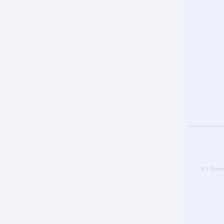e0331dcf0e1...
28×16
2007/04/30
15:58
429 B
e05b...
3...
20...
[Figure (math-figure): Mathematical formula: X = Normaldist sqrt(np i (1 - p))]
[Figure (other): Faint thumbnail of another formula or chart]
e07197e8da...
213×20
2007/05/14
16:44
1.3 KB
e1fc4...
3...
20...
[Figure (table-as-image): Table with columns t, n, n-f(n+t), (n-f(n+t))^2, rows 1-10 with numeric data]
[Figure (other): Faint thumbnail partially visible]
e2aceaf393b...
e2c9...